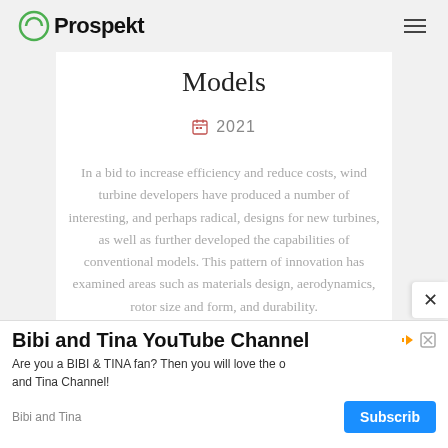Prospekt
Models
2021
In a bid to increase efficiency and reduce costs, wind turbine developers have produced a number of interesting, and perhaps radical, designs for new turbines, as well as further developed the capabilities of conventional models. This pattern of innovation has examined areas such as materials design, aerodynamics, rotor size and form, and durability.
[Figure (infographic): Advertisement overlay: Bibi and Tina YouTube Channel ad with Subscribe button]